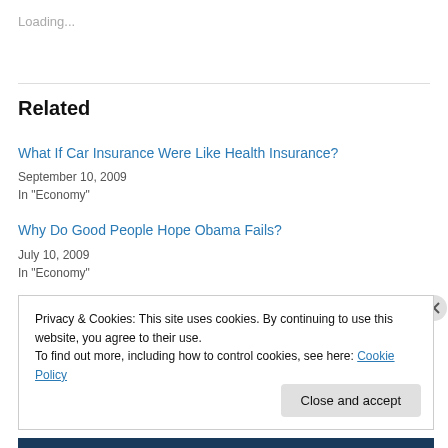Loading...
Related
What If Car Insurance Were Like Health Insurance?
September 10, 2009
In "Economy"
Why Do Good People Hope Obama Fails?
July 10, 2009
In "Economy"
Privacy & Cookies: This site uses cookies. By continuing to use this website, you agree to their use.
To find out more, including how to control cookies, see here: Cookie Policy
Close and accept